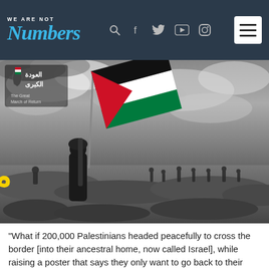WE ARE NOT Numbers — navigation header with logo and icons
[Figure (photo): Black and white photograph of a person holding a Palestinian flag (in color — red, white, green, black) aloft on a rocky hillside with other figures in the background under dramatic cloudy sky. Text overlay in Arabic '30 مارس' (30 March) in yellow. Upper left corner has a logo with Arabic text 'العودة الكبرى' and English 'The Great March of Return' with a Palestine map icon.]
"What if 200,000 Palestinians headed peacefully to cross the border [into their ancestral home, now called Israel], while raising a poster that says they only want to go back to their land? What would happen?"